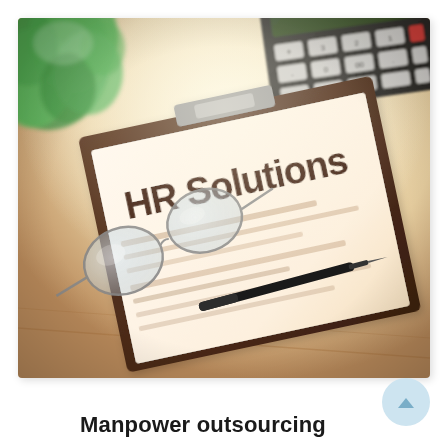[Figure (photo): A clipboard with a document titled 'HR Solutions' on a wooden desk, with a calculator, glasses, a pen, and a green plant in the background. Warm, bright lighting with soft focus.]
Manpower outsourcing